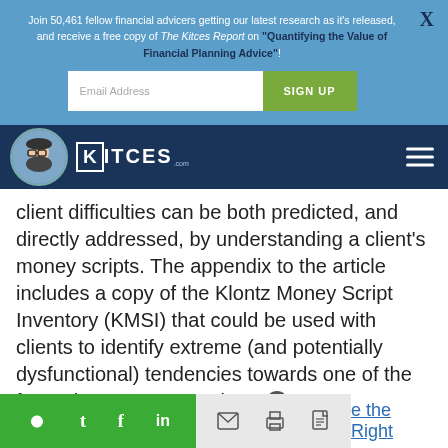Join 50,461 fellow financial advicers getting our latest research as it's released, and receive a free copy of The Kitces Report on "Quantifying the Value of Financial Planning Advice"!
[Figure (screenshot): Email address input field and green SIGN UP button on blue background]
[Figure (logo): Kitces.com logo with avatar and hamburger menu on dark blue navigation bar]
client difficulties can be both predicted, and directly addressed, by understanding a client's money scripts. The appendix to the article includes a copy of the Klontz Money Script Inventory (KMSI) that could be used with clients to identify extreme (and potentially dysfunctional) tendencies towards one of the four primary money scripts.
[Figure (screenshot): Social share bar with Twitter, Facebook, LinkedIn icons in green, and email, print, PDF icons in gray]
e the Right